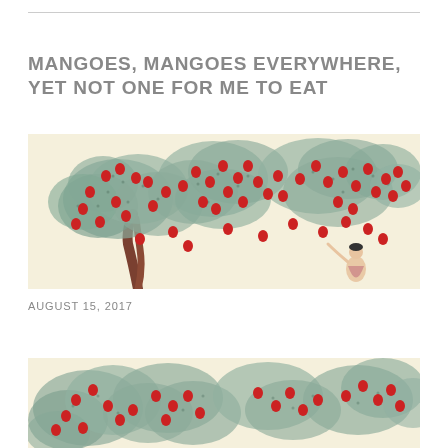MANGOES, MANGOES EVERYWHERE, YET NOT ONE FOR ME TO EAT
[Figure (illustration): Illustration of a large mango tree with teal/grey foliage and numerous red mango fruits, with a small female figure at the lower right reaching toward the tree, on a cream background]
AUGUST 15, 2017
[Figure (illustration): Partial illustration showing the bottom portion of a mango tree with teal/grey foliage and red mango fruits, on a cream background, cropped at bottom of page]